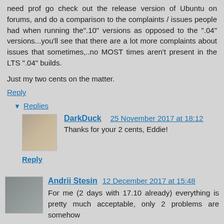need prof go check out the release version of Ubuntu on forums, and do a comparison to the complaints / issues people had when running the".10" versions as opposed to the ".04" versions...you'll see that there are a lot more complaints about issues that sometimes,..no MOST times aren't present in the LTS ".04" builds.
Just my two cents on the matter.
Reply
▾ Replies
DarkDuck   25 November 2017 at 18:12
Thanks for your 2 cents, Eddie!
Reply
Andrii Stesin   12 December 2017 at 15:48
For me (2 days with 17.10 already) everything is pretty much acceptable, only 2 problems are somehow